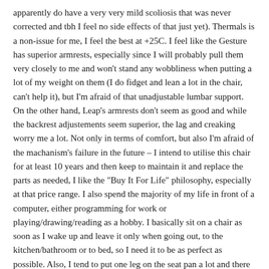apparently do have a very very mild scoliosis that was never corrected and tbh I feel no side effects of that just yet). Thermals is a non-issue for me, I feel the best at +25C. I feel like the Gesture has superior armrests, especially since I will probably pull them very closely to me and won't stand any wobbliness when putting a lot of my weight on them (I do fidget and lean a lot in the chair, can't help it), but I'm afraid of that unadjustable lumbar support. On the other hand, Leap's armrests don't seem as good and while the backrest adjustements seem superior, the lag and creaking worry me a lot. Not only in terms of comfort, but also I'm afraid of the machanism's failure in the future – I intend to utilise this chair for at least 10 years and then keep to maintain it and replace the parts as needed, I like the "Buy It For Life" philosophy, especially at that price range. I also spend the majority of my life in front of a computer, either programming for work or playing/drawing/reading as a hobby. I basically sit on a chair as soon as I wake up and leave it only when going out, to the kitchen/bathroom or to bed, so I need it to be as perfect as possible. Also, I tend to put one leg on the seat pan a lot and there is no way I'm gonna give that up, lol.
I'm rambling a bit, but I'm very undecided, since these chairs both have their advantages and disadvantages and neither of them can be fully...